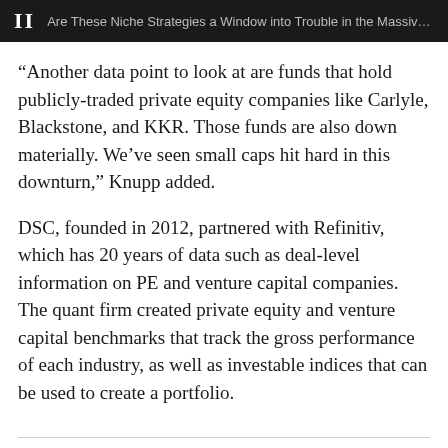II  Are These Niche Strategies a Window into Trouble in the Massive Private ...
“Another data point to look at are funds that hold publicly-traded private equity companies like Carlyle, Blackstone, and KKR. Those funds are also down materially. We’ve seen small caps hit hard in this downturn,” Knupp added.
DSC, founded in 2012, partnered with Refinitiv, which has 20 years of data such as deal-level information on PE and venture capital companies. The quant firm created private equity and venture capital benchmarks that track the gross performance of each industry, as well as investable indices that can be used to create a portfolio.
[Figure (other): Social sharing icons: Facebook, Twitter, and a plus/share button]